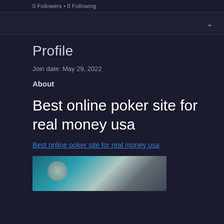0 Followers • 0 Following
Profile
Join date: May 29, 2022
About
Best online poker site for real money usa
Best online poker site for real money usa
[Figure (photo): Blurred photo with teal/green background and indistinct figures]